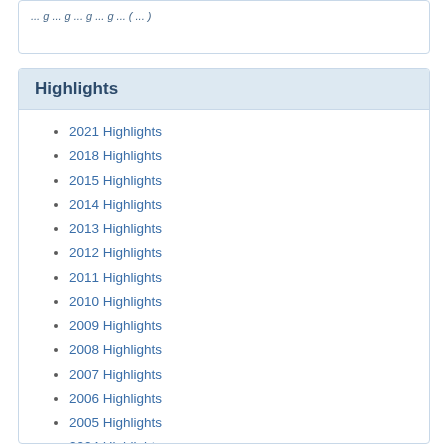(truncated top text - partially visible)
Highlights
2021 Highlights
2018 Highlights
2015 Highlights
2014 Highlights
2013 Highlights
2012 Highlights
2011 Highlights
2010 Highlights
2009 Highlights
2008 Highlights
2007 Highlights
2006 Highlights
2005 Highlights
2004 Highlights
2003 Highlights
1999 Highlights
1998 Highlights